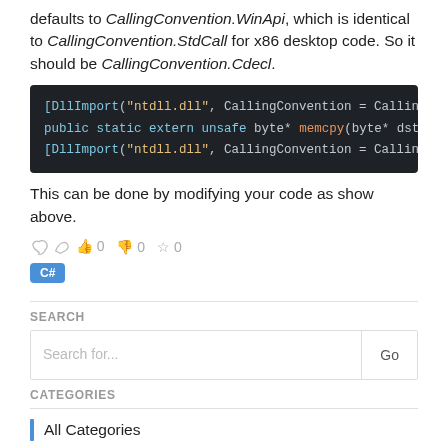defaults to CallingConvention.WinApi, which is identical to CallingConvention.StdCall for x86 desktop code. So it should be CallingConvention.Cdecl.
[Figure (screenshot): Dark-themed code block showing C# DllImport attributes with CallingConvention and a memcpy extern declaration]
This can be done by modifying your code as show above.
👍 0 👎 0 ☆ 0
C#
SEARCH
Search for...   Go
CATEGORIES
All Categories